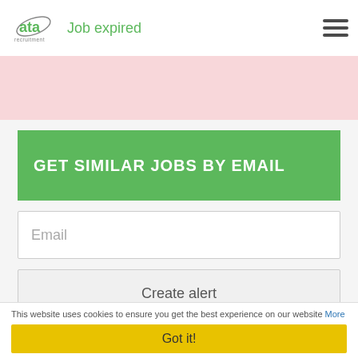ata recruitment — Job expired
GET SIMILAR JOBS BY EMAIL
Email
Create alert
By submitting your details you agree to our T&C's
This website uses cookies to ensure you get the best experience on our website More
Got it!